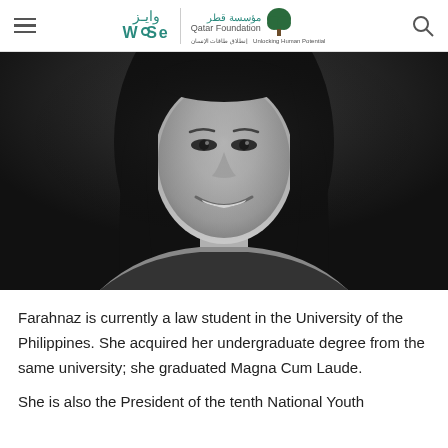WISE / Qatar Foundation – واﻳﺯ / ﻣﺅﺳﺳﺔ ﻗﻄﺭ – Unlocking Human Potential
[Figure (photo): Black and white portrait photo of Farahnaz, a young woman with long dark hair, smiling at the camera]
Farahnaz is currently a law student in the University of the Philippines. She acquired her undergraduate degree from the same university; she graduated Magna Cum Laude.
She is also the President of the tenth National Youth